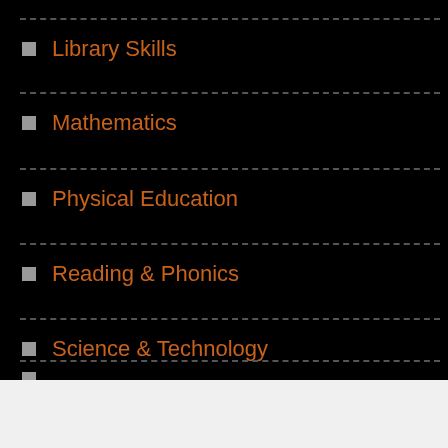Library Skills
Mathematics
Physical Education
Reading & Phonics
Science & Technology